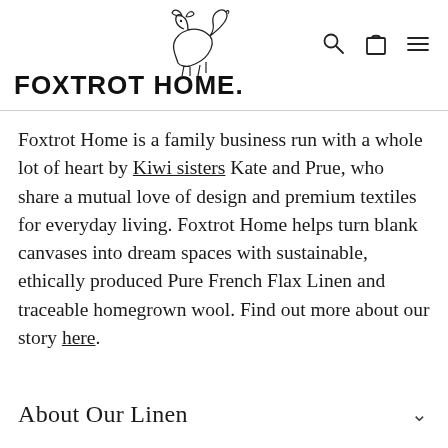[Figure (logo): Foxtrot Home fox logo illustration — line drawing of a sitting fox with a curled tail]
FOXTROT HOME.
[Figure (other): Navigation icons: search (magnifying glass), cart (bag/square), and hamburger menu]
Foxtrot Home is a family business run with a whole lot of heart by Kiwi sisters Kate and Prue, who share a mutual love of design and premium textiles for everyday living. Foxtrot Home helps turn blank canvases into dream spaces with sustainable, ethically produced Pure French Flax Linen and traceable homegrown wool. Find out more about our story here.
About Our Linen